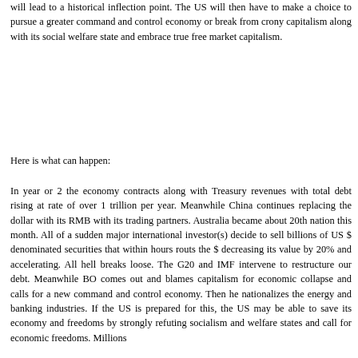will lead to a historical inflection point. The US will then have to make a choice to pursue a greater command and control economy or break from crony capitalism along with its social welfare state and embrace true free market capitalism.
Here is what can happen:
In year or 2 the economy contracts along with Treasury revenues with total debt rising at rate of over 1 trillion per year. Meanwhile China continues replacing the dollar with its RMB with its trading partners. Australia became about 20th nation this month. All of a sudden major international investor(s) decide to sell billions of US $ denominated securities that within hours routs the $ decreasing its value by 20% and accelerating. All hell breaks loose. The G20 and IMF intervene to restructure our debt. Meanwhile BO comes out and blames capitalism for economic collapse and calls for a new command and control economy. Then he nationalizes the energy and banking industries. If the US is prepared for this, the US may be able to save its economy and freedoms by strongly refuting socialism and welfare states and call for economic freedoms. Millions